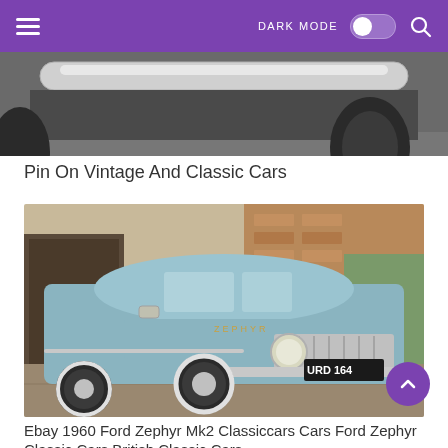DARK MODE [toggle] [search]
[Figure (photo): Partial view of a vintage car chrome bumper from above, cropped at top of page]
Pin On Vintage And Classic Cars
[Figure (photo): 1960 Ford Zephyr Mk2 in light blue/teal color parked on a driveway in front of a brick house, license plate URD 164]
Ebay 1960 Ford Zephyr Mk2 Classiccars Cars Ford Zephyr Classic Cars British Classic Cars